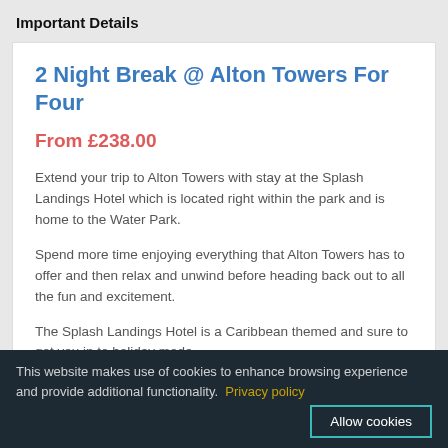Important Details
2 Night Break @ Alton Towers For Four
From £238.00
Extend your trip to Alton Towers with stay at the Splash Landings Hotel which is located right within the park and is home to the Water Park.
Spend more time enjoying everything that Alton Towers has to offer and then relax and unwind before heading back out to all the fun and excitement.
The Splash Landings Hotel is a Caribbean themed and sure to get you in to holiday mode.
This website makes use of cookies to enhance browsing experience and provide additional functionality. Privacy policy  Allow cookies